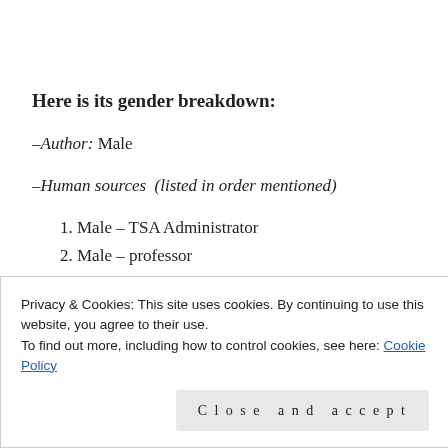Here is its gender breakdown:
–Author: Male
–Human sources  (listed in order mentioned)
1. Male – TSA Administrator
2. Male – professor
Privacy & Cookies: This site uses cookies. By continuing to use this website, you agree to their use.
To find out more, including how to control cookies, see here: Cookie Policy
Close and accept